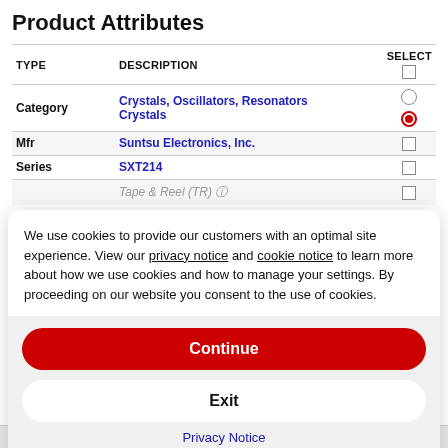Product Attributes
| TYPE | DESCRIPTION | SELECT |
| --- | --- | --- |
| Category | Crystals, Oscillators, Resonators
Crystals | radio/radio-selected |
| Mfr | Suntsu Electronics, Inc. | checkbox |
| Series | SXT214 | checkbox |
|  | Tape & Reel (TR) | checkbox |
We use cookies to provide our customers with an optimal site experience. View our privacy notice and cookie notice to learn more about how we use cookies and how to manage your settings. By proceeding on our website you consent to the use of cookies.
Continue
Exit
Privacy Notice
Operating Mode	Fundamental